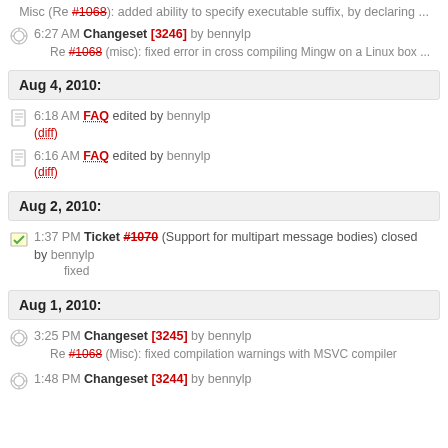Misc (Re #1068): added ability to specify executable suffix, by declaring ...
6:27 AM Changeset [3246] by bennylp — Re #1068 (misc): fixed error in cross compiling Mingw on a Linux box ...
Aug 4, 2010:
6:18 AM FAQ edited by bennylp (diff)
6:16 AM FAQ edited by bennylp (diff)
Aug 2, 2010:
1:37 PM Ticket #1070 (Support for multipart message bodies) closed by bennylp — fixed
Aug 1, 2010:
3:25 PM Changeset [3245] by bennylp — Re #1068 (Misc): fixed compilation warnings with MSVC compiler
1:48 PM Changeset [3244] by bennylp